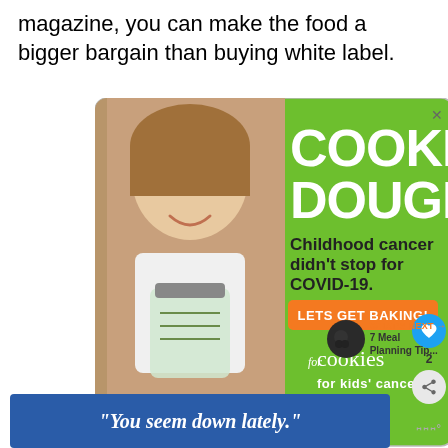magazine, you can make the food a bigger bargain than buying white label.
[Figure (infographic): Advertisement for 'Cookies for Kids' Cancer' featuring a smiling girl holding a jar of money on a green background with text: COOKIE DOUGH, Childhood cancer didn't stop for COVID-19. LETS GET BAKING! cookies for kids' cancer]
2
WHAT'S NEXT → 7 Meal Planning Tip...
"You seem down lately."